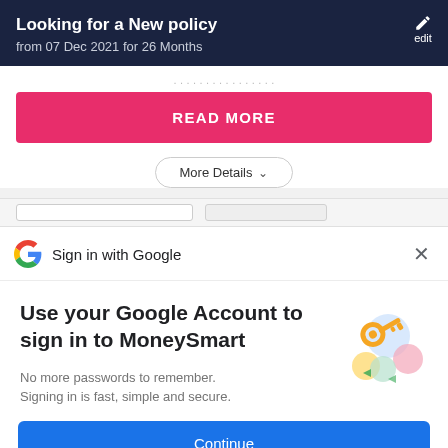Looking for a New policy
from 07 Dec 2021 for 26 Months
READ MORE
More Details
[Figure (screenshot): Google Sign in with Google dialog header with Google G logo and X close button]
Use your Google Account to sign in to MoneySmart
No more passwords to remember. Signing in is fast, simple and secure.
[Figure (illustration): Google key illustration with colorful circles and a golden key]
Continue